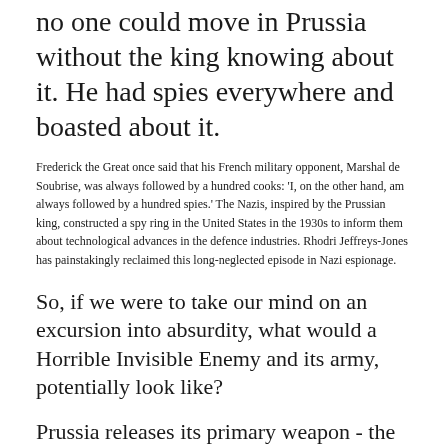no one could move in Prussia without the king knowing about it. He had spies everywhere and boasted about it.
Frederick the Great once said that his French military opponent, Marshal de Soubrise, was always followed by a hundred cooks: 'I, on the other hand, am always followed by a hundred spies.' The Nazis, inspired by the Prussian king, constructed a spy ring in the United States in the 1930s to inform them about technological advances in the defence industries. Rhodri Jeffreys-Jones has painstakingly reclaimed this long-neglected episode in Nazi espionage.
So, if we were to take our mind on an excursion into absurdity, what would a Horrible Invisible Enemy and its army, potentially look like?
Prussia releases its primary weapon - the mind-virus of Fascism; delivered through the vector of mass psychosis.
The army of such a horrible enemy would need to be devoid of any connection to the family unit.